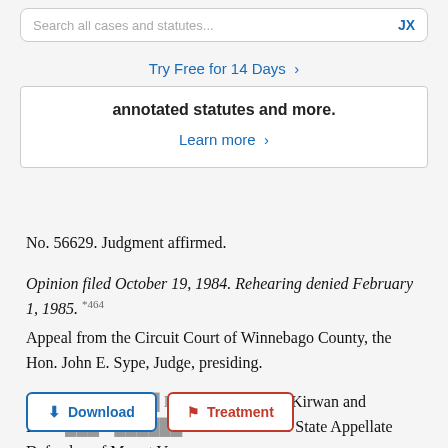[Figure (screenshot): Search bar with placeholder text 'Search all cases and statutes...' and 'JX' label on the right]
Try Free for 14 Days >
annotated statutes and more.
Learn more >
No. 56629. Judgment affirmed.
Opinion filed October 19, 1984. Rehearing denied February 1, 1985. *464
Appeal from the Circuit Court of Winnebago County, the Hon. John E. Sype, Judge, presiding.
Randy E. Pl... Defendant and David M. Kirwan and David... ist... the Office of the State Appellate Defender, of Mount Vernon,
[Figure (screenshot): Two buttons: 'Download' with blue border and 'Treatment' with red border]